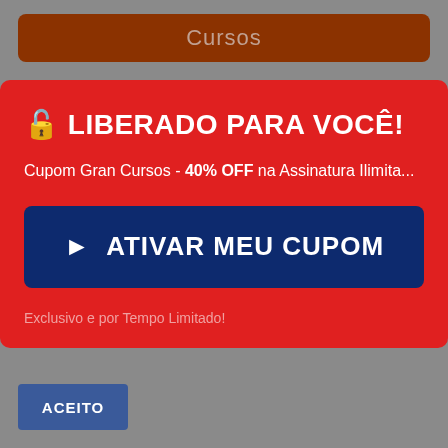Cursos
🔓 LIBERADO PARA VOCÊ!
Cupom Gran Cursos - 40% OFF na Assinatura Ilimita...
► ATIVAR MEU CUPOM
Exclusivo e por Tempo Limitado!
ACEITO